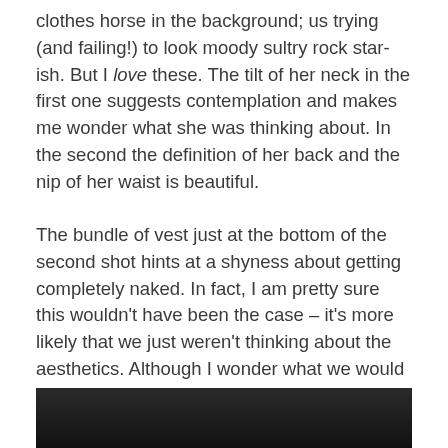clothes horse in the background; us trying (and failing!) to look moody sultry rock star-ish. But I love these. The tilt of her neck in the first one suggests contemplation and makes me wonder what she was thinking about. In the second the definition of her back and the nip of her waist is beautiful.
The bundle of vest just at the bottom of the second shot hints at a shyness about getting completely naked. In fact, I am pretty sure this wouldn't have been the case – it's more likely that we just weren't thinking about the aesthetics. Although I wonder what we would have thought if someone had told us that in twenty years' time she'd have turned around so I could capture her Whitechapel Smile?
[Figure (photo): Dark/black photo strip at the bottom of the page, partially visible]